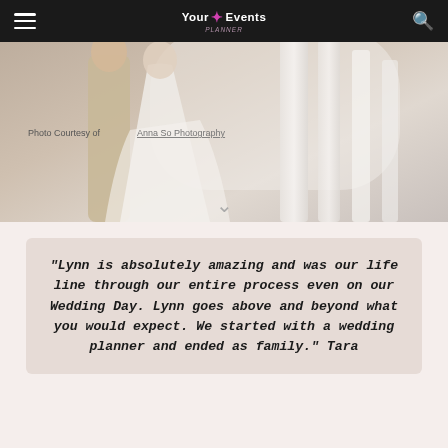Your Events — navigation bar with hamburger menu, logo, and search icon
[Figure (photo): Wedding couple photo — person in beige suit and person in white wedding dress standing near white pillars. Photo credit overlay reads 'Photo Courtesy of Anna So Photography'. A chevron down arrow is visible at the bottom center of the image.]
"Lynn is absolutely amazing and was our life line through our entire process even on our Wedding Day. Lynn goes above and beyond what you would expect. We started with a wedding planner and ended as family." Tara